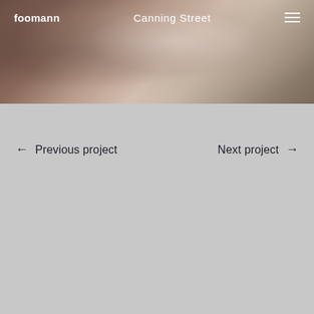foomann   Canning Street
[Figure (photo): Blurred interior photograph with warm brown and beige tones, used as hero background image for Canning Street project]
← Previous project
Next project →